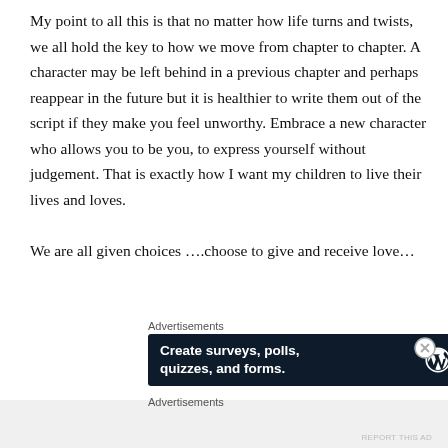My point to all this is that no matter how life turns and twists, we all hold the key to how we move from chapter to chapter. A character may be left behind in a previous chapter and perhaps reappear in the future but it is healthier to write them out of the script if they make you feel unworthy. Embrace a new character who allows you to be you, to express yourself without judgement. That is exactly how I want my children to live their lives and loves.

We are all given choices ….choose to give and receive love…
Advertisements
[Figure (screenshot): Advertisement banner with dark navy background showing 'Create surveys, polls, quizzes, and forms.' in white bold text, with WordPress logo and a circular survey badge on the right.]
Advertisements